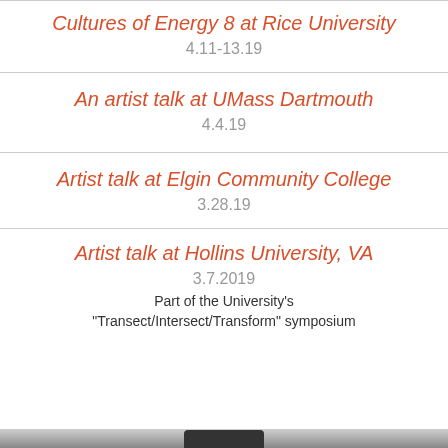Cultures of Energy 8 at Rice University
4.11-13.19
An artist talk at UMass Dartmouth
4.4.19
Artist talk at Elgin Community College
3.28.19
Artist talk at Hollins University, VA
3.7.2019
Part of the University's "Transect/Intersect/Transform" symposium